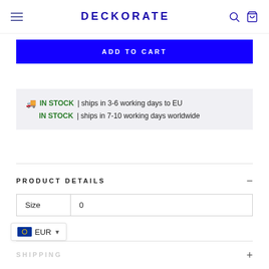DECKORATE
ADD TO CART
IN STOCK | ships in 3-6 working days to EU
IN STOCK | ships in 7-10 working days worldwide
PRODUCT DETAILS
| Size | 0 |
| --- | --- |
| Size | 0 |
EUR
SHIPPING